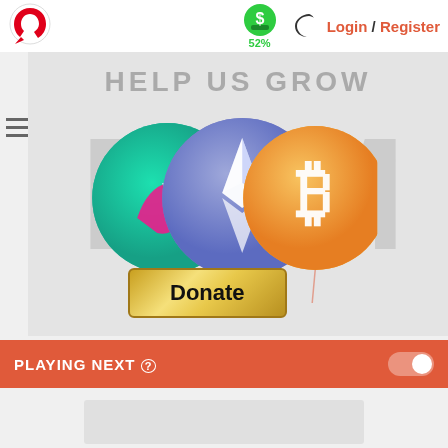[Figure (logo): Red circular arrow logo (cryptocurrency tracker site logo)]
[Figure (infographic): Green dollar sign donation icon with 52% label below]
[Figure (logo): Crescent moon dark mode icon]
Login / Register
HELP US GROW
[Figure (infographic): Three cryptocurrency coin logos: a teal/pink coin (possibly Uniswap), Ethereum (blue with diamond), and Bitcoin (orange with B symbol)]
[Figure (other): Gold metallic Donate button]
PLAYING NEXT ⓘ
[Figure (other): Light gray rectangular placeholder for next video content]